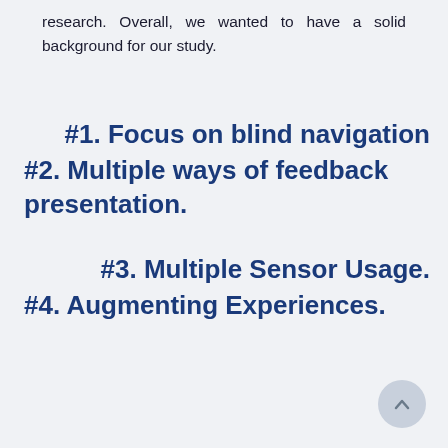research. Overall, we wanted to have a solid background for our study.
#1. Focus on blind navigation
#2. Multiple ways of feedback presentation.
#3. Multiple Sensor Usage.
#4. Augmenting Experiences.